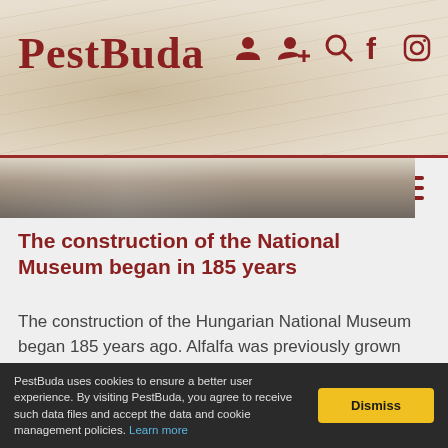PestBuda
[Figure (screenshot): PestBuda website header with logo and navigation icons (user, add user, search, Facebook, Instagram) on a historical map background]
[Figure (photo): Black and white archival photo strip showing architectural or document details]
The construction of the National Museum began in 185 years
The construction of the Hungarian National Museum began 185 years ago. Alfalfa was previously grown on the then suburban plot, which had already been purchased for the museum in 1813. The Parliament voted for a huge amount of 500,000 HUF for the construction, and it began on 22 June 1837.
PestBuda uses cookies to ensure a better user experience. By visiting PestBuda, you agree to receive such data files and accept the data and cookie management policies. Learn more   Dismiss